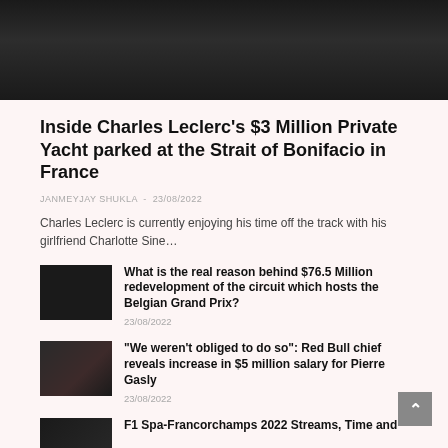[Figure (photo): Dark blurred hero image at top of article page]
Inside Charles Leclerc’s $3 Million Private Yacht parked at the Strait of Bonifacio in France
JANMEYJAY SHUKLA - 23/08/2022
Charles Leclerc is currently enjoying his time off the track with his girlfriend Charlotte Sine…
[Figure (photo): Small dark thumbnail for related article about Belgian Grand Prix redevelopment]
What is the real reason behind $76.5 Million redevelopment of the circuit which hosts the Belgian Grand Prix?
23/08/2022
[Figure (photo): Small dark thumbnail for related article about Red Bull and Pierre Gasly salary]
“We weren’t obliged to do so”: Red Bull chief reveals increase in $5 million salary for Pierre Gasly
23/08/2022
[Figure (photo): Small dark thumbnail for F1 Spa-Francorchamps article]
F1 Spa-Francorchamps 2022 Streams, Time and